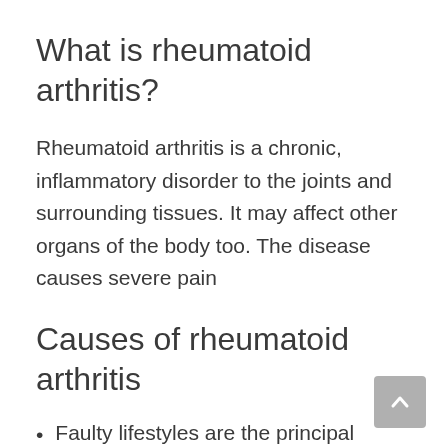What is rheumatoid arthritis?
Rheumatoid arthritis is a chronic, inflammatory disorder to the joints and surrounding tissues. It may affect other organs of the body too. The disease causes severe pain
Causes of rheumatoid arthritis
Faulty lifestyles are the principal cause of rheumatoid